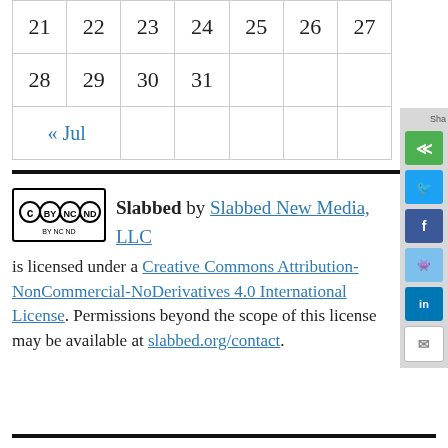| 21 | 22 | 23 | 24 | 25 | 26 | 27 |
| 28 | 29 | 30 | 31 |  |  |  |
| « Jul |  |  |  |  |  |  |
Slabbed by Slabbed New Media, LLC is licensed under a Creative Commons Attribution-NonCommercial-NoDerivatives 4.0 International License. Permissions beyond the scope of this license may be available at slabbed.org/contact.
[Figure (logo): Creative Commons BY NC ND license badge]